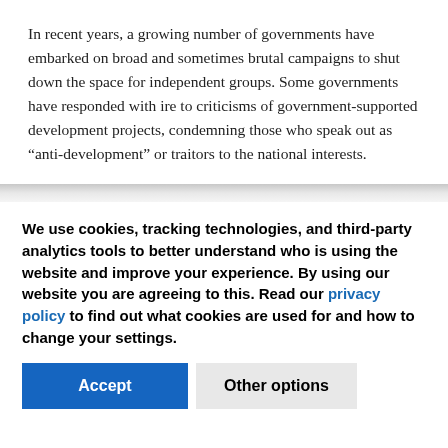In recent years, a growing number of governments have embarked on broad and sometimes brutal campaigns to shut down the space for independent groups. Some governments have responded with ire to criticisms of government-supported development projects, condemning those who speak out as “anti-development” or traitors to the national interests.
We use cookies, tracking technologies, and third-party analytics tools to better understand who is using the website and improve your experience. By using our website you are agreeing to this. Read our privacy policy to find out what cookies are used for and how to change your settings.